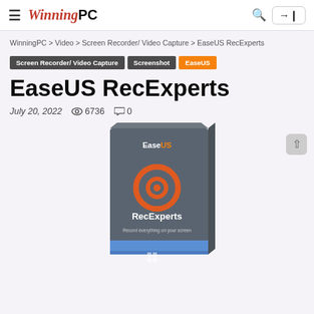WinningPC — navigation header with hamburger menu, logo, search icon, and login button
WinningPC › Video › Screen Recorder/ Video Capture › EaseUS RecExperts
Screen Recorder/ Video Capture
Screenshot
EaseUS
EaseUS RecExperts
July 20, 2022   👁 6736   💬 0
[Figure (photo): EaseUS RecExperts software box — dark grey box with EaseUS logo at top, orange circular record icon in center, 'RecExperts' text, and 'Record everything on your screen' tagline, blue strip at bottom.]